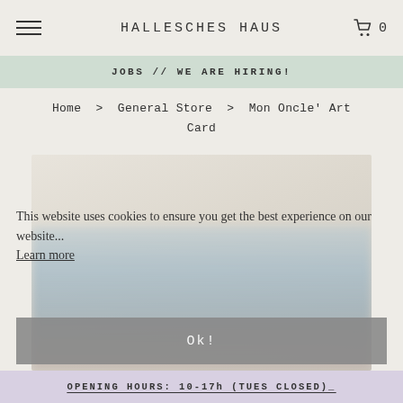HALLESCHES HAUS
JOBS // WE ARE HIRING!
Home > General Store > Mon Oncle' Art Card
[Figure (photo): Blurred product image of Mon Oncle' Art Card with cookie consent overlay]
This website uses cookies to ensure you get the best experience on our website... Learn more
Ok!
OPENING HOURS: 10-17h (TUES CLOSED)_